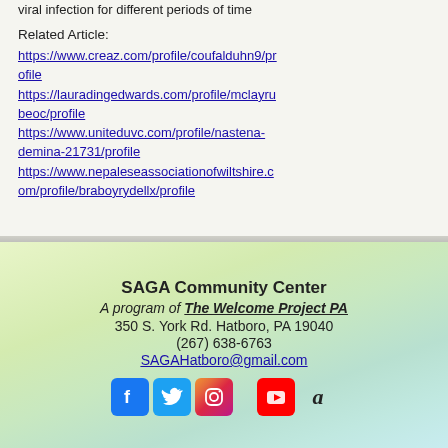viral infection for different periods of time
Related Article:
https://www.creaz.com/profile/coufalduhn9/profile
https://lauradingedwards.com/profile/mclayrubeoc/profile
https://www.uniteduvc.com/profile/nastena-demina-21731/profile
https://www.nepaleseassociationofwiltshire.com/profile/braboyrydellx/profile
SAGA Community Center
A program of The Welcome Project PA
350 S. York Rd. Hatboro, PA 19040
(267) 638-6763
SAGAHatboro@gmail.com